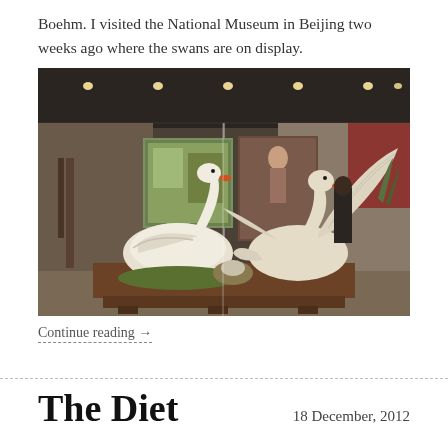Boehm. I visited the National Museum in Beijing two weeks ago where the swans are on display.
[Figure (photo): Museum display case showing two white porcelain swan sculptures on a wooden base, with paintings and other artifacts visible in the background.]
Continue reading →
The Diet
18 December, 2012